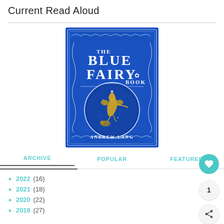Current Read Aloud
[Figure (illustration): Book cover of 'The Blue Fairy Book' by Andrew Lang. Deep blue ornate cover with silver filigree border and floral patterns. Title reads 'THE BLUE FAIRY BOOK' in white letters with a small leaf icon. Center oval medallion shows a golden fairy figure dancing. Author name 'ANDREW LANG' at bottom.]
ARCHIVE   POPULAR   FEATURED
► 2022 (16)
► 2021 (18)
► 2020 (22)
► 2019 (27)